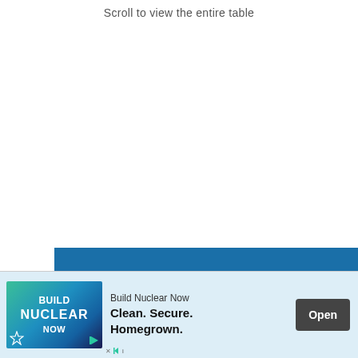Scroll to view the entire table
|  |  |
| --- | --- |
| City MPG | 11 |
| Highway MPG | 13 |
[Figure (other): Advertisement banner: Build Nuclear Now - Clean. Secure. Homegrown. with Open button]